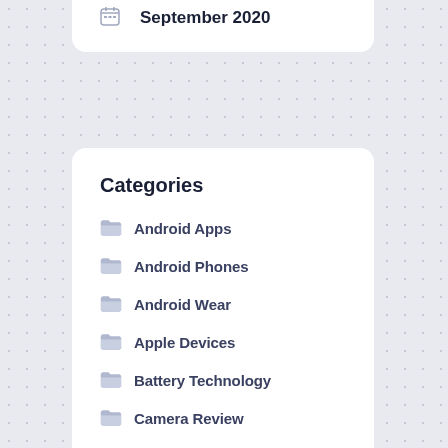September 2020
Categories
Android Apps
Android Phones
Android Wear
Apple Devices
Battery Technology
Camera Review
Clean Energy
Environment